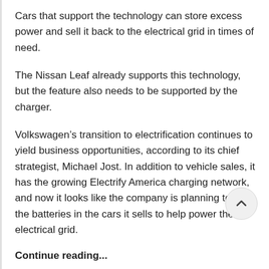Cars that support the technology can store excess power and sell it back to the electrical grid in times of need.
The Nissan Leaf already supports this technology, but the feature also needs to be supported by the charger.
Volkswagen’s transition to electrification continues to yield business opportunities, according to its chief strategist, Michael Jost. In addition to vehicle sales, it has the growing Electrify America charging network, and now it looks like the company is planning to use the batteries in the cars it sells to help power the electrical grid.
Continue reading...